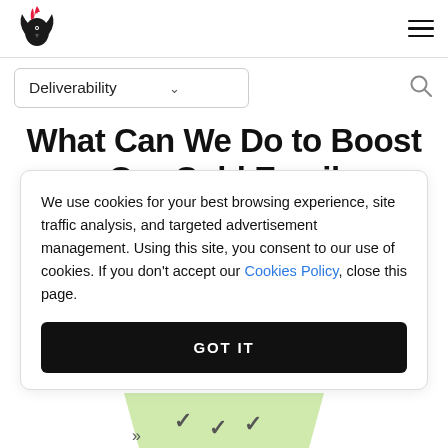[Figure (logo): Red and black phoenix/bird logo]
Deliverability
What Can We Do to Boost Our Cold Email
We use cookies for your best browsing experience, site traffic analysis, and targeted advertisement management. Using this site, you consent to our use of cookies. If you don't accept our Cookies Policy, close this page.
GOT IT
[Figure (illustration): Partial green funnel/checklist illustration at bottom]